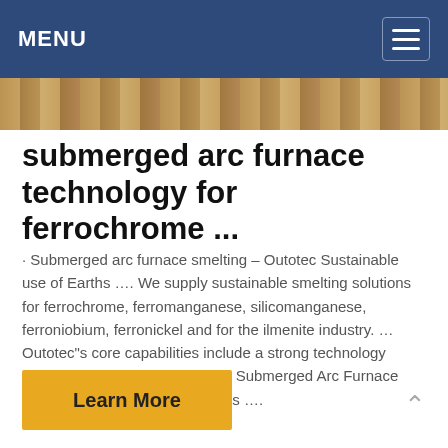MENU
[Figure (photo): Hero image showing earth/mining landscape in sandy brown tones]
submerged arc furnace technology for ferrochrome ...
· Submerged arc furnace smelting – Outotec Sustainable use of Earths …. We supply sustainable smelting solutions for ferrochrome, ferromanganese, silicomanganese, ferroniobium, ferronickel and for the ilmenite industry. … Outotec"s core capabilities include a strong technology portfolio, expertise … Outotec® Submerged Arc Furnace with Outotec® Venturi Scrubbers ….
Learn More